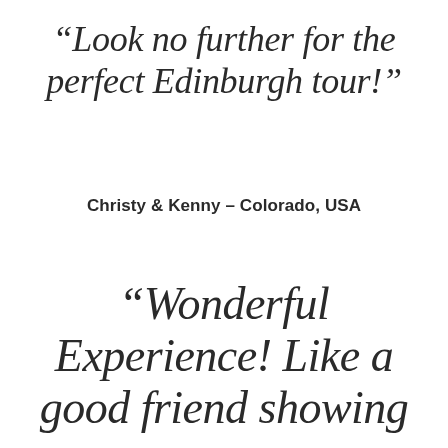“Look no further for the perfect Edinburgh tour!”
Christy & Kenny – Colorado, USA
“Wonderful Experience! Like a good friend showing